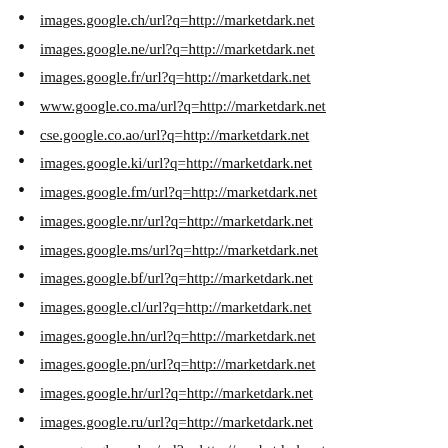images.google.ch/url?q=http://marketdark.net
images.google.ne/url?q=http://marketdark.net
images.google.fr/url?q=http://marketdark.net
www.google.co.ma/url?q=http://marketdark.net
cse.google.co.ao/url?q=http://marketdark.net
images.google.ki/url?q=http://marketdark.net
images.google.fm/url?q=http://marketdark.net
images.google.nr/url?q=http://marketdark.net
images.google.ms/url?q=http://marketdark.net
images.google.bf/url?q=http://marketdark.net
images.google.cl/url?q=http://marketdark.net
images.google.hn/url?q=http://marketdark.net
images.google.pn/url?q=http://marketdark.net
images.google.hr/url?q=http://marketdark.net
images.google.ru/url?q=http://marketdark.net
www.google.co.bw/url?q=http://marketdark.net
cse.google.co.kr/url?q=http://marketdark.net
images.google.sk/url?q=http://marketdark.net
images.google.pt/url?q=http://marketdark.net